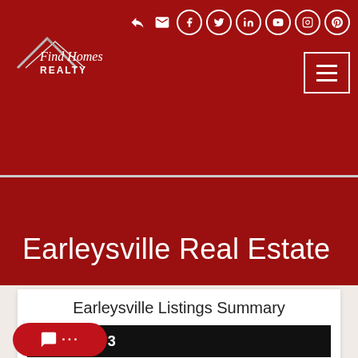[Figure (logo): Find Homes Realty logo with rooftop graphic and red background header with social media icons and hamburger menu]
Earleysville Real Estate
Earleysville Listings Summary
Total: 3
New: 0